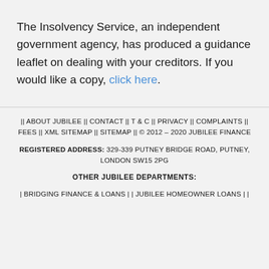The Insolvency Service, an independent government agency, has produced a guidance leaflet on dealing with your creditors. If you would like a copy, click here.
|| ABOUT JUBILEE || CONTACT || T & C || PRIVACY || COMPLAINTS || FEES || XML SITEMAP || SITEMAP || © 2012 – 2020 JUBILEE FINANCE
REGISTERED ADDRESS: 329-339 PUTNEY BRIDGE ROAD, PUTNEY, LONDON SW15 2PG
OTHER JUBILEE DEPARTMENTS:
| BRIDGING FINANCE & LOANS | | JUBILEE HOMEOWNER LOANS | |